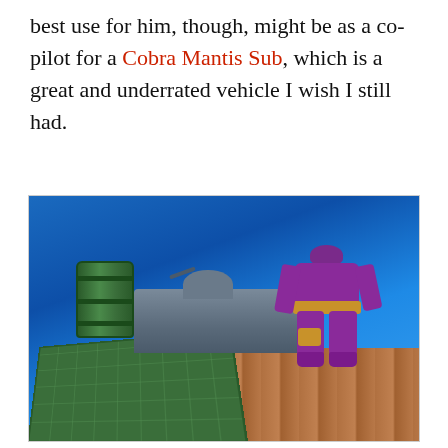best use for him, though, might be as a co-pilot for a Cobra Mantis Sub, which is a great and underrated vehicle I wish I still had.
[Figure (photo): A photograph of action figures arranged in a scene. A purple-suited figure stands in the foreground right, facing away. A green barrel and military vehicle with a turret are in the middle ground. A green crate is in the foreground bottom-left. The background is bright blue.]